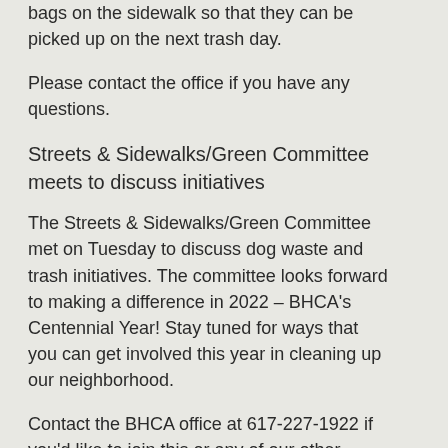bags on the sidewalk so that they can be picked up on the next trash day.
Please contact the office if you have any questions.
Streets & Sidewalks/Green Committee meets to discuss initiatives
The Streets & Sidewalks/Green Committee met on Tuesday to discuss dog waste and trash initiatives. The committee looks forward to making a difference in 2022 – BHCA's Centennial Year! Stay tuned for ways that you can get involved this year in cleaning up our neighborhood.
Contact the BHCA office at 617-227-1922 if you'd like to join this or any of our other committees.